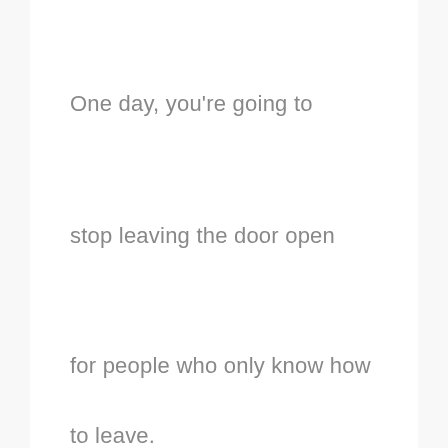One day, you're going to
stop leaving the door open
for people who only know how
to leave.